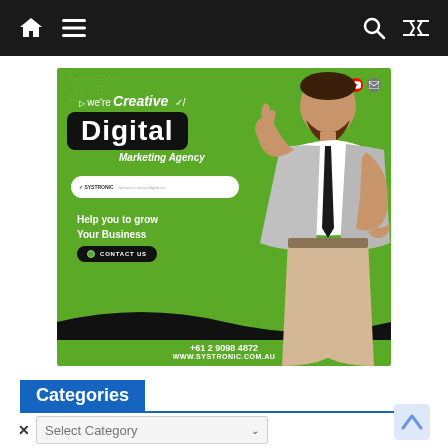Navigation bar with home, menu, search, and shuffle icons
[Figure (advertisement): Green digital marketing agency advertisement for Systronic. Text reads: We're Creative Digital Marketing Agency. SYSTRONIC. Help you to grow Your Business. CONTACT US. +61 2 9098 4872. WWW.SYSTRONIC.COM.AU. Features social media icons and a man in a grey suit pointing upward.]
Categories
Select Category